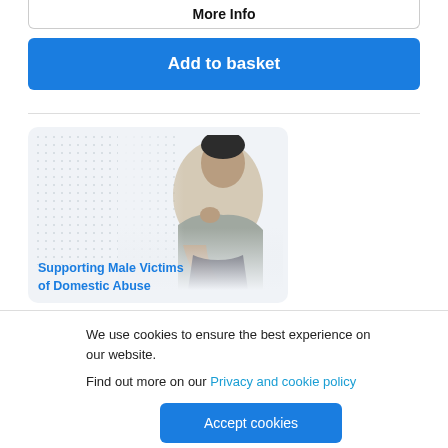More Info
Add to basket
[Figure (photo): A young man sitting with knees up, resting his chin on his hand, looking downward, with a dotted pattern background on the left side of the image card. Text reads: Supporting Male Victims of Domestic Abuse]
Supporting Male Victims of Domestic Abuse
We use cookies to ensure the best experience on our website.
Find out more on our Privacy and cookie policy
Accept cookies